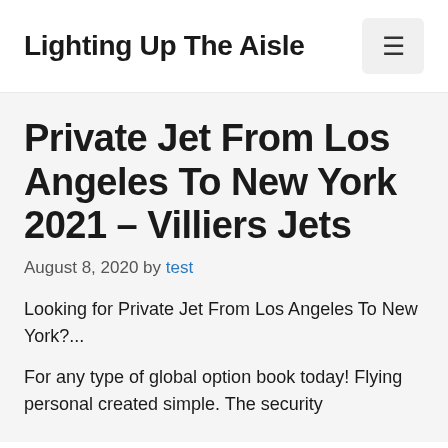Lighting Up The Aisle
Private Jet From Los Angeles To New York 2021 – Villiers Jets
August 8, 2020 by test
Looking for Private Jet From Los Angeles To New York?...
For any type of global option book today! Flying personal created simple. The security